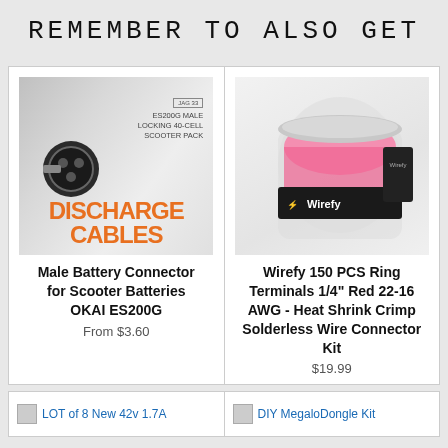REMEMBER TO ALSO GET
[Figure (photo): Product image for Male Battery Connector showing discharge cables with orange text 'DISCHARGE CABLES' and subtitle 'ES200G MALE LOCKING 40-CELL SCOOTER PACK']
Male Battery Connector for Scooter Batteries OKAI ES200G
From $3.60
[Figure (photo): Product image for Wirefy 150 PCS Ring Terminals showing a clear jar filled with pink heat shrink ring connectors with Wirefy branding label]
Wirefy 150 PCS Ring Terminals 1/4" Red 22-16 AWG - Heat Shrink Crimp Solderless Wire Connector Kit
$19.99
LOT of 8 New 42v 1.7A
DIY MegaloDongle Kit